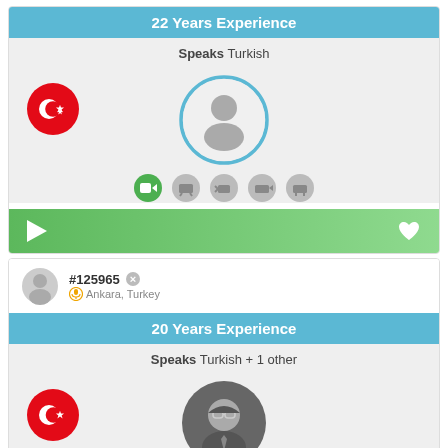22 Years Experience
Speaks Turkish
[Figure (infographic): Translator profile card 1: Turkish flag icon, generic avatar placeholder, media icons row, green play bar with heart icon]
#125965  Ankara, Turkey
20 Years Experience
Speaks Turkish + 1 other
[Figure (infographic): Translator profile card 2: Turkish flag icon, avatar with glasses illustration]